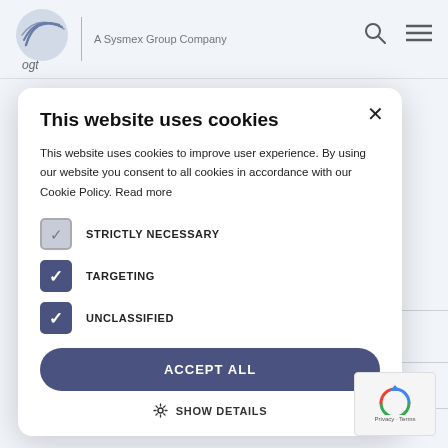ogt — A Sysmex Group Company
T USE ONLY (ROO) with the intention o diagnostic e, prior to any e probes, users gn of such probes able for their
This website uses cookies
This website uses cookies to improve user experience. By using our website you consent to all cookies in accordance with our Cookie Policy. Read more
STRICTLY NECESSARY
TARGETING
UNCLASSIFIED
ACCEPT ALL
SHOW DETAILS
ochure
[Figure (logo): reCAPTCHA badge with Privacy and Terms links]